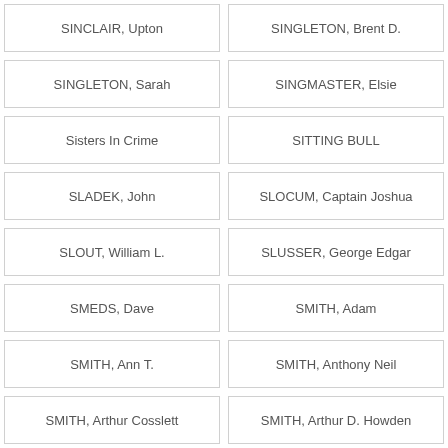SINCLAIR, Upton
SINGLETON, Brent D.
SINGLETON, Sarah
SINGMASTER, Elsie
Sisters In Crime
SITTING BULL
SLADEK, John
SLOCUM, Captain Joshua
SLOUT, William L.
SLUSSER, George Edgar
SMEDS, Dave
SMITH, Adam
SMITH, Ann T.
SMITH, Anthony Neil
SMITH, Arthur Cosslett
SMITH, Arthur D. Howden